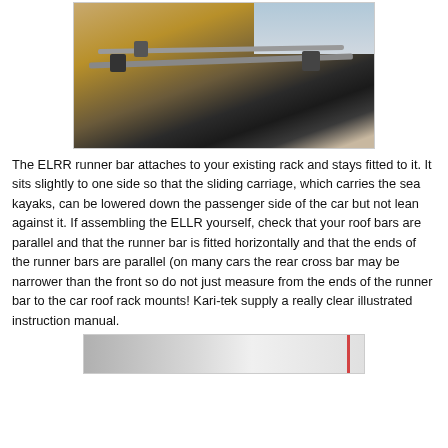[Figure (photo): Photograph of a car roof rack system (ELRR runner bar) mounted on top of a vehicle, viewed from above and behind. A brick building and trees are visible in the background.]
The ELRR runner bar attaches to your existing rack and stays fitted to it. It sits slightly to one side so that the sliding carriage, which carries the sea kayaks, can be lowered down the passenger side of the car but not lean against it. If assembling the ELLR yourself, check that your roof bars are parallel and that the runner bar is fitted horizontally and that the ends of the runner bars are parallel (on many cars the rear cross bar may be narrower than the front so do not just measure from the ends of the runner bar to the car roof rack mounts! Kari-tek supply a really clear illustrated instruction manual.
[Figure (photo): Partial photograph showing what appears to be a document or instruction manual, mostly white/grey with a red stripe visible at the top right.]